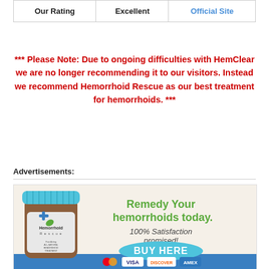| Our Rating | Excellent | Official Site |
| --- | --- | --- |
*** Please Note: Due to ongoing difficulties with HemClear we are no longer recommending it to our visitors. Instead we recommend Hemorrhoid Rescue as our best treatment for hemorrhoids. ***
Advertisements:
[Figure (illustration): Advertisement banner for Hemorrhoid Rescue supplement product. Shows a brown pill bottle with blue cap labeled 'Hemorrhoid Rescue', green text 'Remedy Your hemorrhoids today.' and italic text '100% Satisfaction promised!' with a blue BUY HERE button and credit card logos (Mastercard, Visa, Discover, Amex) at the bottom.]